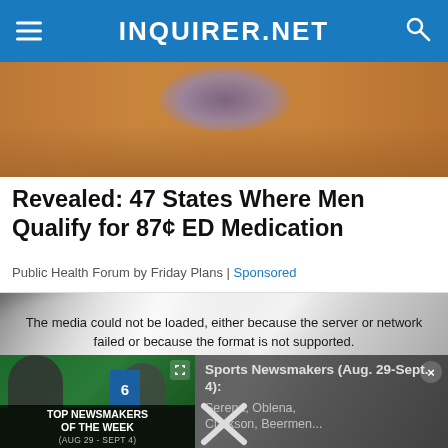INQUIRER.NET
[Figure (photo): Partial image at top, showing what appears to be blue shoes/feet and a wooden/orange surface below]
Revealed: 47 States Where Men Qualify for 87¢ ED Medication
Public Health Forum by Friday Plans | Sponsored
[Figure (photo): Blurred/unclear background image with a video overlay showing 'The media could not be loaded, either because the server or network failed or because the format is not supported.' and a Sports Newsmakers panel (Aug. 29-Sept. 4): Serena, Oblena, Clarkson, Beermen... with an X close button]
The media could not be loaded, either because the server or network failed or because the format is not supported.
Sports Newsmakers (Aug. 29-Sept. 4): Serena, Oblena, Clarkson, Beermen...